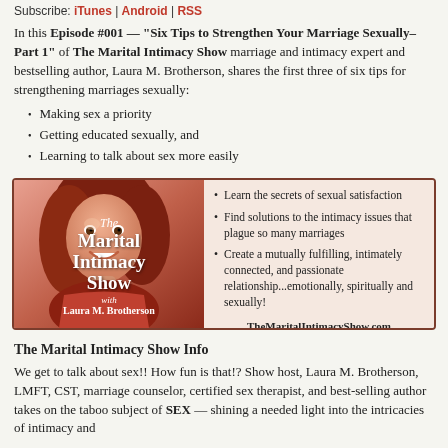Subscribe: iTunes | Android | RSS
In this Episode #001 — "Six Tips to Strengthen Your Marriage Sexually–Part 1" of The Marital Intimacy Show marriage and intimacy expert and bestselling author, Laura M. Brotherson, shares the first three of six tips for strengthening marriages sexually:
Making sex a priority
Getting educated sexually, and
Learning to talk about sex more easily
[Figure (illustration): The Marital Intimacy Show podcast cover art featuring Laura M. Brotherson with bullet points: Learn the secrets of sexual satisfaction; Find solutions to the intimacy issues that plague so many marriages; Create a mutually fulfilling, intimately connected, and passionate relationship...emotionally, spiritually and sexually! TheMaritalIntimacyShow.com]
The Marital Intimacy Show Info
We get to talk about sex!! How fun is that!? Show host, Laura M. Brotherson, LMFT, CST, marriage counselor, certified sex therapist, and best-selling author takes on the taboo subject of SEX — shining a needed light into the intricacies of intimacy and